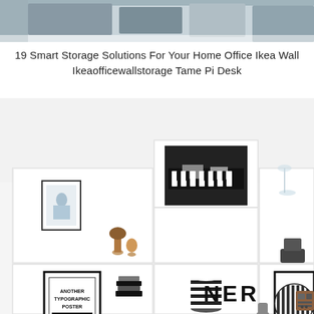[Figure (photo): Partial top image cropped at top of page, appears to show a room or desk scene in muted tones]
19 Smart Storage Solutions For Your Home Office Ikea Wall Ikeaofficewallstorage Tame Pi Desk
[Figure (photo): Interior photo of a modern minimalist white wall-mounted shelving unit (IKEA style) displaying decorative items: framed artwork including a black-and-white piano photo, typographic posters, wooden figurines, a striped black-and-white vase, a small monkey figurine, dark speaker/vase, a round striped artwork, and a vintage-style radio. The shelves are white cube-style wall units arranged at different heights.]